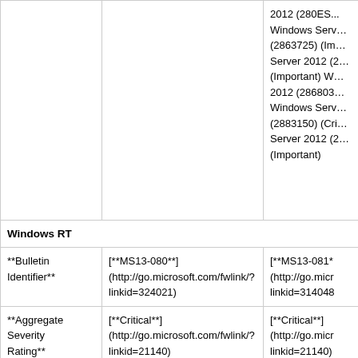|  | MS13-080 | MS13-081 |
| --- | --- | --- |
| (continuation of previous row) | 2012 (280ES... Windows Serv... (2863725) (Im... Server 2012 (2... (Important) W... 2012 (286803... Windows Serv... (2883150) (Cri... Server 2012 (2... (Important) |  |
| Windows RT |  |  |
| **Bulletin Identifier** | [**MS13-080**](http://go.microsoft.com/fwlink/?linkid=324021) | [**MS13-081**(http://go.micr linkid=314048 |
| **Aggregate Severity Rating** | [**Critical**](http://go.microsoft.com/fwlink/?linkid=21140) | [**Critical**](http://go.micr linkid=21140) |
| Windows RT | Internet Explorer 10 (2879017) (Critical) | Windows RT (2... Windows RT (2... |